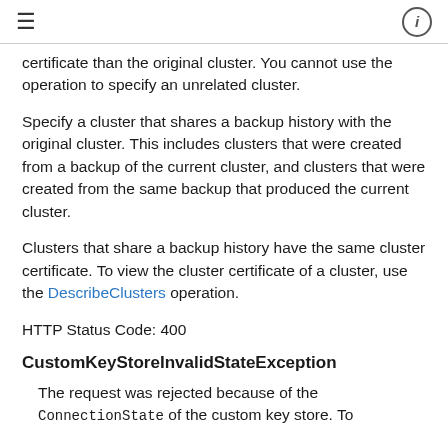≡  ⓘ
certificate than the original cluster. You cannot use the operation to specify an unrelated cluster.
Specify a cluster that shares a backup history with the original cluster. This includes clusters that were created from a backup of the current cluster, and clusters that were created from the same backup that produced the current cluster.
Clusters that share a backup history have the same cluster certificate. To view the cluster certificate of a cluster, use the DescribeClusters operation.
HTTP Status Code: 400
CustomKeyStoreInvalidStateException
The request was rejected because of the ConnectionState of the custom key store. To